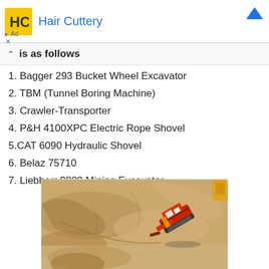[Figure (screenshot): Hair Cuttery advertisement banner with yellow logo and blue triangle icon]
is as follows
1. Bagger 293 Bucket Wheel Excavator
2. TBM (Tunnel Boring Machine)
3. Crawler-Transporter
4. P&H 4100XPC Electric Rope Shovel
5.CAT 6090 Hydraulic Shovel
6. Belaz 75710
7. Liebherr 9800 Mining Excavator
[Figure (photo): Aerial view of a mining excavator (red/orange colored) on sandy/rocky terrain in an open pit mine]